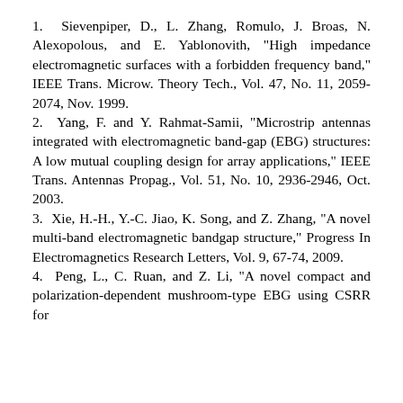1. Sievenpiper, D., L. Zhang, Romulo, J. Broas, N. Alexopolous, and E. Yablonovith, "High impedance electromagnetic surfaces with a forbidden frequency band," IEEE Trans. Microw. Theory Tech., Vol. 47, No. 11, 2059-2074, Nov. 1999.
2. Yang, F. and Y. Rahmat-Samii, "Microstrip antennas integrated with electromagnetic band-gap (EBG) structures: A low mutual coupling design for array applications," IEEE Trans. Antennas Propag., Vol. 51, No. 10, 2936-2946, Oct. 2003.
3. Xie, H.-H., Y.-C. Jiao, K. Song, and Z. Zhang, "A novel multi-band electromagnetic bandgap structure," Progress In Electromagnetics Research Letters, Vol. 9, 67-74, 2009.
4. Peng, L., C. Ruan, and Z. Li, "A novel compact and polarization-dependent mushroom-type EBG using CSRR for